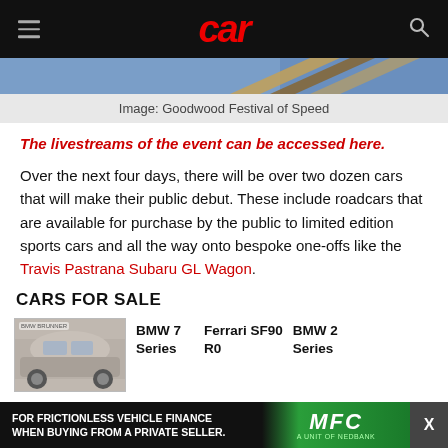car
[Figure (photo): Partial photo of Goodwood Festival of Speed event, showing blue background with decorative wooden structure elements]
Image: Goodwood Festival of Speed
The livestreams of the event can be accessed here.
Over the next four days, there will be over two dozen cars that will make their public debut. These include roadcars that are available for purchase by the public to limited edition sports cars and all the way onto bespoke one-offs like the Travis Pastrana Subaru GL Wagon.
CARS FOR SALE
[Figure (photo): Thumbnail photo of a BMW SUV (silver/grey), shown partially. Labels BMW 7 Series, Ferrari SF90 R0, BMW 2 Series visible.]
FOR FRICTIONLESS VEHICLE FINANCE WHEN BUYING FROM A PRIVATE SELLER.